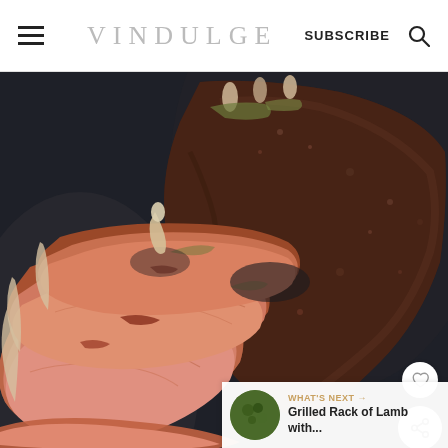VINDULGE  SUBSCRIBE
[Figure (photo): Close-up photo of smoked/BBQ lamb or beef ribs on a dark surface. The ribs are sliced showing pink, juicy interior meat with a dark bark exterior crust. Several rib pieces are arranged with bones visible. A heart icon button and share/forward icon button overlay the right side of the image.]
WHAT'S NEXT →
Grilled Rack of Lamb with...